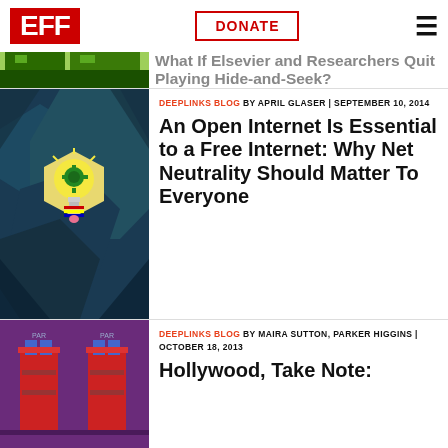EFF | DONATE
[Figure (illustration): Partial top article image with green pixelated blocks]
What If Elsevier and Researchers Quit Playing Hide-and-Seek?
[Figure (illustration): Flat design hexagon with light bulb and gear on teal/dark blue background]
DEEPLINKS BLOG BY APRIL GLASER | SEPTEMBER 10, 2014
An Open Internet Is Essential to a Free Internet: Why Net Neutrality Should Matter To Everyone
[Figure (illustration): Purple background with illustrated pillars/columns in red and blue]
DEEPLINKS BLOG BY MAIRA SUTTON, PARKER HIGGINS | OCTOBER 18, 2013
Hollywood, Take Note: